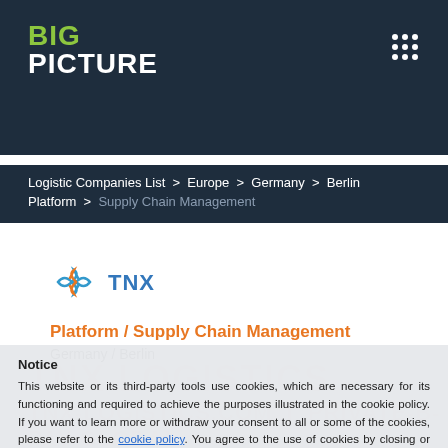BIG PICTURE
Logistic Companies List > Europe > Germany > Berlin Platform > Supply Chain Management
[Figure (logo): TNX logo with blue infinity/arrow icon and TNX text in blue]
Platform / Supply Chain Management
Germany / Berlin
Notice
This website or its third-party tools use cookies, which are necessary for its functioning and required to achieve the purposes illustrated in the cookie policy. If you want to learn more or withdraw your consent to all or some of the cookies, please refer to the cookie policy. You agree to the use of cookies by closing or dismissing this banner.